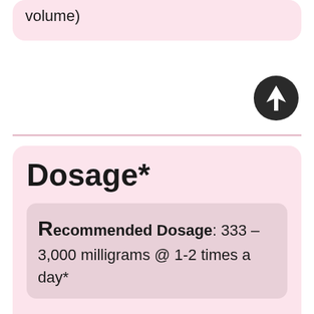volume)
[Figure (other): Dark circular up-arrow button icon]
Dosage*
Recommended Dosage: 333 – 3,000 milligrams @ 1-2 times a day*
As the predominant tonic in Athlex Ginseng is the Asian species of panax ginseng, reference panax ginseng dosage for more information and insight.*